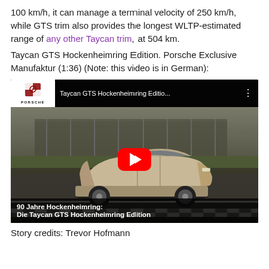100 km/h, it can manage a terminal velocity of 250 km/h, while GTS trim also provides the longest WLTP-estimated range of any other Taycan trim, at 504 km.
Taycan GTS Hockenheimring Edition. Porsche Exclusive Manufaktur (1:36) (Note: this video is in German):
[Figure (screenshot): YouTube video thumbnail showing a Porsche Taycan GTS Hockenheimring Edition on a race track. The video header shows the Porsche logo and title 'Taycan GTS Hockenheimring Editio...' A red play button is centered on the image. At the bottom is a black caption bar reading '90 Jahre Hockenheimring: Die Taycan GTS Hockenheimring Edition'.]
Story credits: Trevor Hofmann